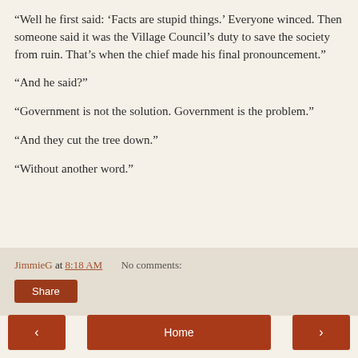“Well he first said: ‘Facts are stupid things.’ Everyone winced. Then someone said it was the Village Council’s duty to save the society from ruin. That’s when the chief made his final pronouncement.”
“And he said?”
“Government is not the solution. Government is the problem.”
“And they cut the tree down.”
“Without another word.”
JimmieG at 8:18 AM   No comments:  Share
< Home >